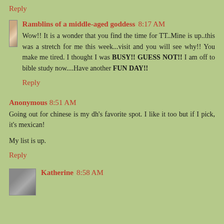Reply
Ramblins of a middle-aged goddess 8:17 AM
Wow!! It is a wonder that you find the time for TT..Mine is up..this was a stretch for me this week...visit and you will see why!! You make me tired. I thought I was BUSY!! GUESS NOT!! I am off to bible study now....Have another FUN DAY!!
Reply
Anonymous 8:51 AM
Going out for chinese is my dh's favorite spot. I like it too but if I pick, it's mexican!
My list is up.
Reply
Katherine 8:58 AM